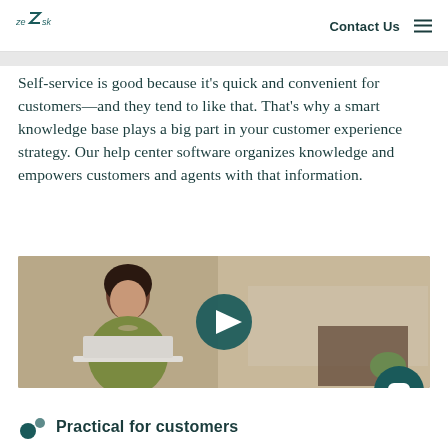zendesk | Contact Us ☰
Self-service is good because it's quick and convenient for customers—and they tend to like that. That's why a smart knowledge base plays a big part in your customer experience strategy. Our help center software organizes knowledge and empowers customers and agents with that information.
[Figure (photo): Video thumbnail showing a woman in a green jacket working at a laptop, with a play button overlay in the center. A chat bubble icon appears in the bottom right corner.]
Practical for customers